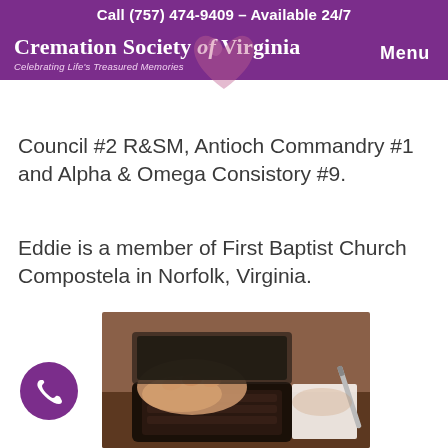Call (757) 474-9409 – Available 24/7
[Figure (logo): Cremation Society of Virginia logo with heart graphic. Text: 'Cremation Society of Virginia' and tagline 'Celebrating Life's Treasured Memories'. Menu button on right.]
Council #2 R&SM, Antioch Commandry #1 and Alpha & Omega Consistory #9.
Eddie is a member of First Baptist Church Compostela in Norfolk, Virginia.
[Figure (photo): Photo of hands typing on a laptop keyboard while holding a pen, with paper visible on the right side.]